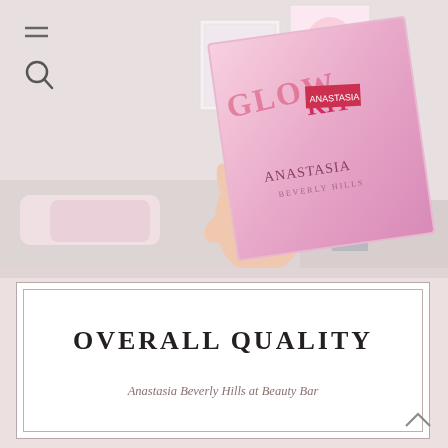[Figure (photo): A hand holding a pink Anastasia Beverly Hills GLOW KIT palette in front of a bedroom scene with lamp and wall art in the background. Menu (hamburger) and search icons visible in top-left corner.]
OVERALL QUALITY
Anastasia Beverly Hills at Beauty Bar